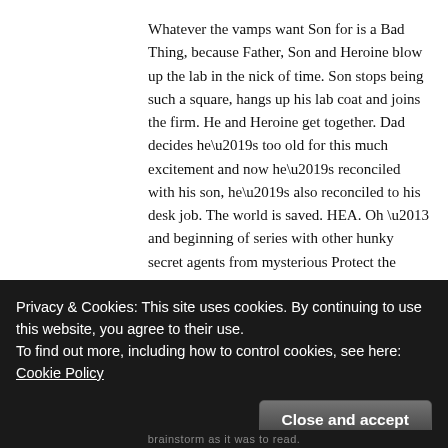Whatever the vamps want Son for is a Bad Thing, because Father, Son and Heroine blow up the lab in the nick of time. Son stops being such a square, hangs up his lab coat and joins the firm. He and Heroine get together. Dad decides he's too old for this much excitement and now he's reconciled with his son, he's also reconciled to his desk job. The world is saved. HEA. Oh – and beginning of series with other hunky secret agents from mysterious Protect the World Agency.
Log in to Reply
Privacy & Cookies: This site uses cookies. By continuing to use this website, you agree to their use.
To find out more, including how to control cookies, see here: Cookie Policy
Close and accept
brainstorm as it was to read.